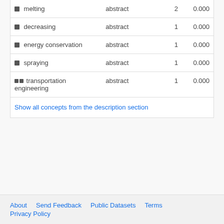| Concept | Type | Count | Score |
| --- | --- | --- | --- |
| melting | abstract | 2 | 0.000 |
| decreasing | abstract | 1 | 0.000 |
| energy conservation | abstract | 1 | 0.000 |
| spraying | abstract | 1 | 0.000 |
| transportation engineering | abstract | 1 | 0.000 |
Show all concepts from the description section
About   Send Feedback   Public Datasets   Terms   Privacy Policy